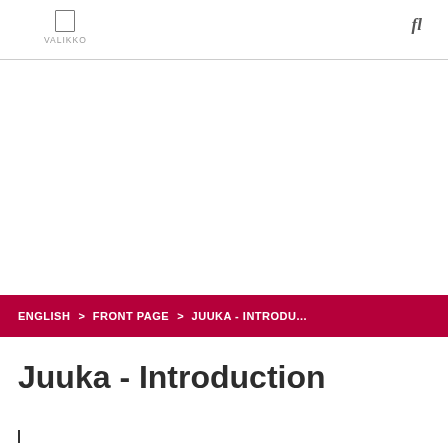VALIKKO
ENGLISH > FRONT PAGE > JUUKA - INTRODU...
Juuka - Introduction